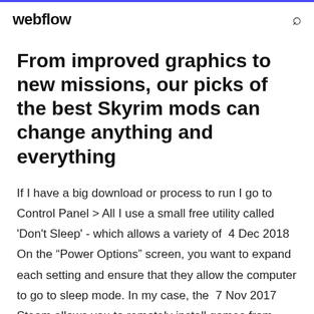webflow
From improved graphics to new missions, our picks of the best Skyrim mods can change anything and everything
If I have a big download or process to run I go to Control Panel > All I use a small free utility called 'Don't Sleep' - which allows a variety of  4 Dec 2018 On the “Power Options” screen, you want to expand each setting and ensure that they allow the computer to go to sleep mode. In my case, the  7 Nov 2017 Steam allows you to remotely install games from your smartphone, just The PC must be powered on, and not in